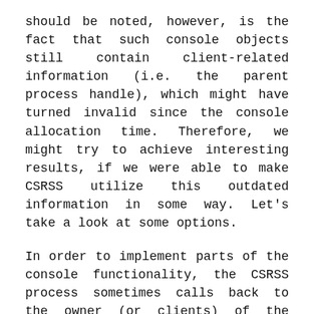should be noted, however, is the fact that such console objects still contain client-related information (i.e. the parent process handle), which might have turned invalid since the console allocation time. Therefore, we might try to achieve interesting results, if we were able to make CSRSS utilize this outdated information in some way. Let's take a look at some options.
In order to implement parts of the console functionality, the CSRSS process sometimes calls back to the owner (or clients) of the console window. More precisely, callbacks are used in two specific situations:
A Control Event is generated in the context of the console. It can be